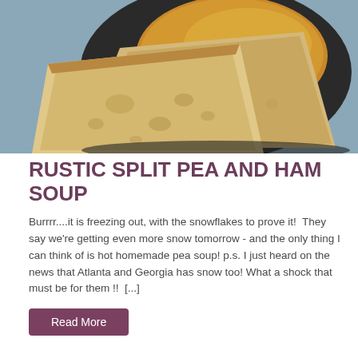[Figure (photo): Close-up photo of rustic bread slices resting on a dark plate beside a bowl of yellow/orange split pea soup, with a blue background]
RUSTIC SPLIT PEA AND HAM SOUP
Burrrr....it is freezing out, with the snowflakes to prove it!  They say we're getting even more snow tomorrow - and the only thing I can think of is hot homemade pea soup! p.s. I just heard on the news that Atlanta and Georgia has snow too! What a shock that must be for them !!  [...]
Read More